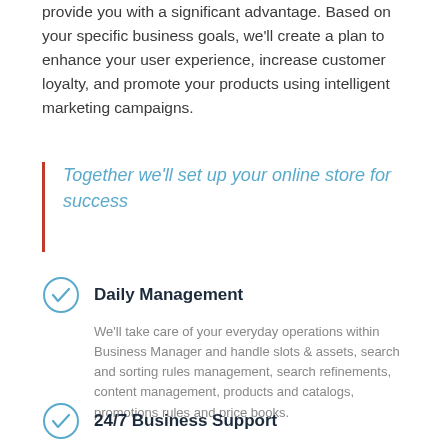provide you with a significant advantage. Based on your specific business goals, we'll create a plan to enhance your user experience, increase customer loyalty, and promote your products using intelligent marketing campaigns.
Together we'll set up your online store for success
Daily Management
We'll take care of your everyday operations within Business Manager and handle slots & assets, search and sorting rules management, search refinements, content management, products and catalogs, promotions rules and price books.
24/7 Business Support
Focus on your core business while we maintain the